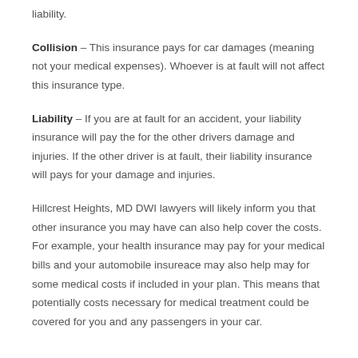liability.
Collision – This insurance pays for car damages (meaning not your medical expenses). Whoever is at fault will not affect this insurance type.
Liability – If you are at fault for an accident, your liability insurance will pay the for the other drivers damage and injuries. If the other driver is at fault, their liability insurance will pays for your damage and injuries.
Hillcrest Heights, MD DWI lawyers will likely inform you that other insurance you may have can also help cover the costs. For example, your health insurance may pay for your medical bills and your automobile insureace may also help may for some medical costs if included in your plan. This means that potentially costs necessary for medical treatment could be covered for you and any passengers in your car.